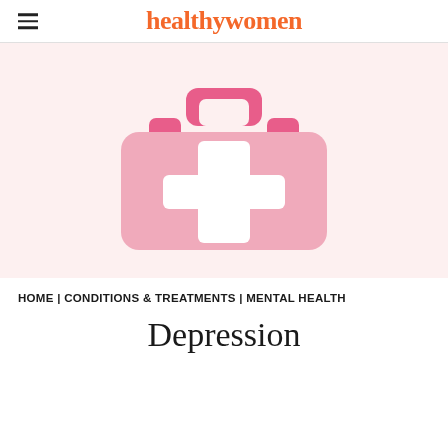healthywomen
[Figure (illustration): Pink first-aid kit / medical bag icon with white plus sign, on a light pink background]
HOME | CONDITIONS & TREATMENTS | MENTAL HEALTH
Depression